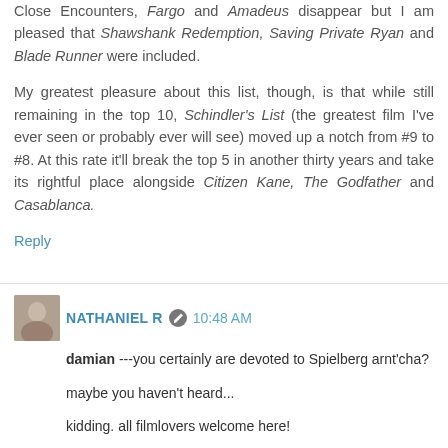Close Encounters, Fargo and Amadeus disappear but I am pleased that Shawshank Redemption, Saving Private Ryan and Blade Runner were included.
My greatest pleasure about this list, though, is that while still remaining in the top 10, Schindler's List (the greatest film I've ever seen or probably ever will see) moved up a notch from #9 to #8. At this rate it'll break the top 5 in another thirty years and take its rightful place alongside Citizen Kane, The Godfather and Casablanca.
Reply
NATHANIEL R 10:48 AM
damian ---you certainly are devoted to Spielberg arnt'cha?
maybe you haven't heard...
kidding. all filmlovers welcome here!
deborah --yeah, they are confused about that. which is a little weird. you'd think with DVDs people would get better